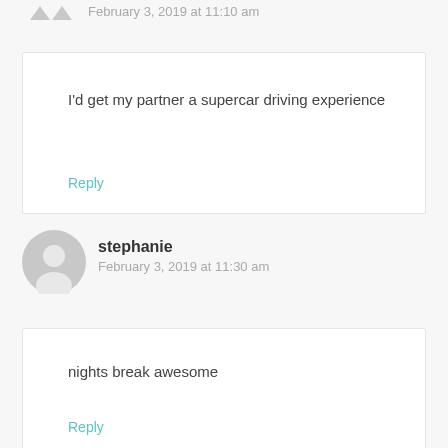February 3, 2019 at 11:10 am
I'd get my partner a supercar driving experience
Reply
stephanie
February 3, 2019 at 11:30 am
nights break awesome
Reply